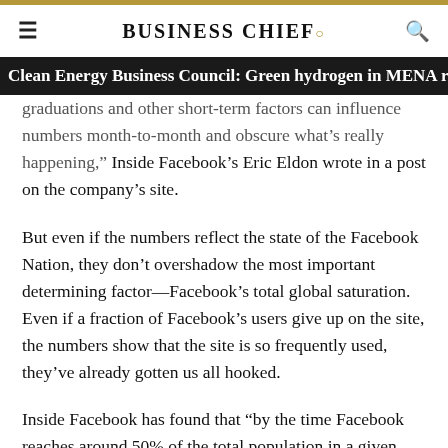BUSINESS CHIEF.
Clean Energy Business Council: Green hydrogen in MENA re
graduations and other short-term factors can influence numbers month-to-month and obscure what’s really happening,” Inside Facebook’s Eric Eldon wrote in a post on the company’s site.
But even if the numbers reflect the state of the Facebook Nation, they don’t overshadow the most important determining factor—Facebook’s total global saturation. Even if a fraction of Facebook’s users give up on the site, the numbers show that the site is so frequently used, they’ve already gotten us all hooked.
Inside Facebook has found that “by the time Facebook reaches around 50% of the total population in a given country…growth generally slows to a halt.”